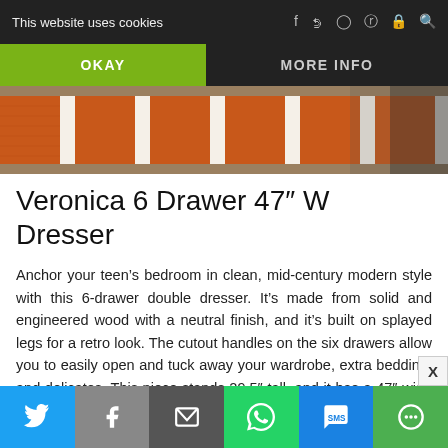This website uses cookies
OKAY
MORE INFO
[Figure (photo): Orange and white striped rug on a wooden floor, partial product image for the Veronica 6 Drawer Dresser]
Veronica 6 Drawer 47″ W Dresser
Anchor your teen’s bedroom in clean, mid-century modern style with this 6-drawer double dresser. It’s made from solid and engineered wood with a neutral finish, and it’s built on splayed legs for a retro look. The cutout handles on the six drawers allow you to easily open and tuck away your wardrobe, extra bedding, and delicates. This piece stands 29.5″ tall, and it has a 47″ wide surface that’s the perfect spot
Share buttons: Twitter, Facebook, Email, WhatsApp, SMS, More